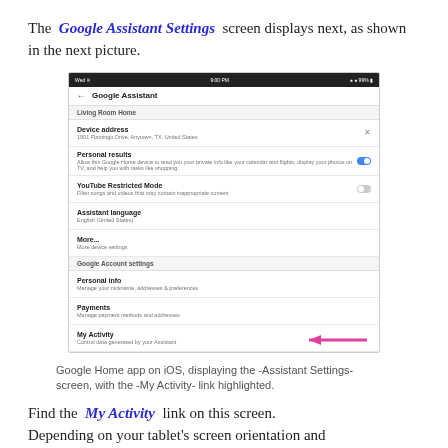The Google Assistant Settings screen displays next, as shown in the next picture.
[Figure (screenshot): Screenshot of Google Home app on iOS showing the Google Assistant settings screen with Living Room Home section, Device address, Personal results (toggle on), YouTube Restricted Mode (toggle off), Assistant language, More, Google Account settings section, Personal info, Payments, My Activity. A pink/magenta arrow points to 'My Activity'.]
Google Home app on iOS, displaying the -Assistant Settings- screen, with the -My Activity- link highlighted.
Find the My Activity link on this screen. Depending on your tablet's screen orientation and